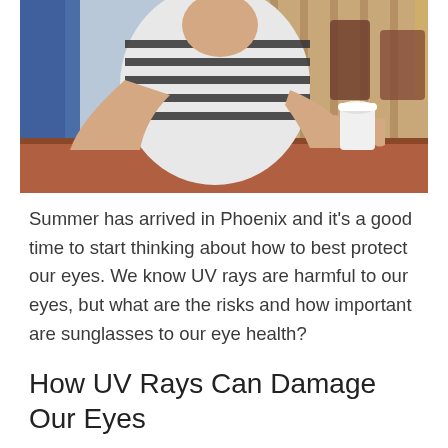[Figure (photo): A man in a striped t-shirt sitting at an outdoor wooden table holding a coffee cup, with chairs and a bokeh background visible.]
Summer has arrived in Phoenix and it's a good time to start thinking about how to best protect our eyes. We know UV rays are harmful to our eyes, but what are the risks and how important are sunglasses to our eye health?
How UV Rays Can Damage Our Eyes
UV rays are harsh on our vision, and much like